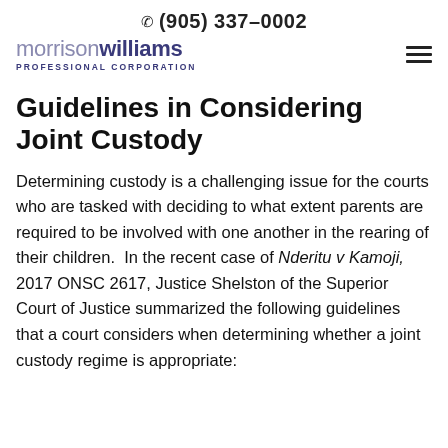☎ (905) 337-0002
[Figure (logo): Morrison Williams Professional Corporation logo with hamburger menu icon]
Guidelines in Considering Joint Custody
Determining custody is a challenging issue for the courts who are tasked with deciding to what extent parents are required to be involved with one another in the rearing of their children.  In the recent case of Nderitu v Kamoji, 2017 ONSC 2617, Justice Shelston of the Superior Court of Justice summarized the following guidelines that a court considers when determining whether a joint custody regime is appropriate: